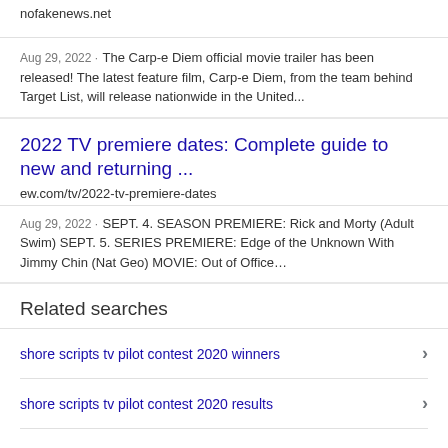nofakenews.net
Aug 29, 2022 · The Carp-e Diem official movie trailer has been released! The latest feature film, Carp-e Diem, from the team behind Target List, will release nationwide in the United...
2022 TV premiere dates: Complete guide to new and returning ...
ew.com/tv/2022-tv-premiere-dates
Aug 29, 2022 · SEPT. 4. SEASON PREMIERE: Rick and Morty (Adult Swim) SEPT. 5. SERIES PREMIERE: Edge of the Unknown With Jimmy Chin (Nat Geo) MOVIE: Out of Office…
Related searches
shore scripts tv pilot contest 2020 winners
shore scripts tv pilot contest 2020 results